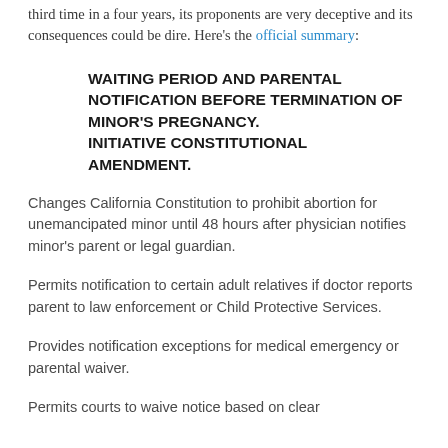third time in a four years, its proponents are very deceptive and its consequences could be dire. Here's the official summary:
WAITING PERIOD AND PARENTAL NOTIFICATION BEFORE TERMINATION OF MINOR'S PREGNANCY. INITIATIVE CONSTITUTIONAL AMENDMENT.
Changes California Constitution to prohibit abortion for unemancipated minor until 48 hours after physician notifies minor's parent or legal guardian.
Permits notification to certain adult relatives if doctor reports parent to law enforcement or Child Protective Services.
Provides notification exceptions for medical emergency or parental waiver.
Permits courts to waive notice based on clear